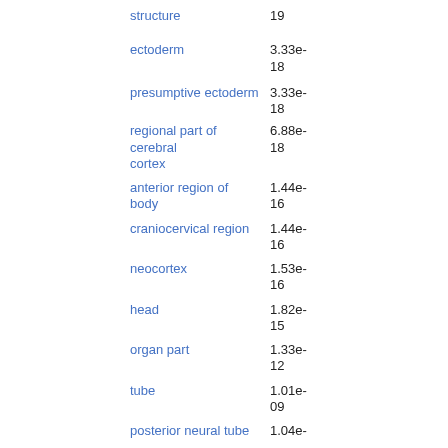structure	19
ectoderm	3.33e-18
presumptive ectoderm	3.33e-18
regional part of cerebral cortex	6.88e-18
anterior region of body	1.44e-16
craniocervical region	1.44e-16
neocortex	1.53e-16
head	1.82e-15
organ part	1.33e-12
tube	1.01e-09
posterior neural tube	1.04e-